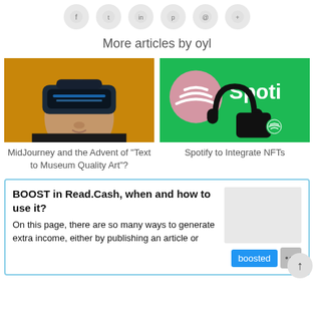[Figure (other): Row of social media share icon buttons (circles)]
More articles by oyl
[Figure (photo): AI-generated image of a woman wearing a VR/AR headset against an orange/yellow background]
[Figure (photo): Spotify branding image showing headphones and smartphone on a green background with Spotify logo text]
MidJourney and the Advent of "Text to Museum Quality Art"?
Spotify to Integrate NFTs
BOOST in Read.Cash, when and how to use it?
On this page, there are so many ways to generate extra income, either by publishing an article or